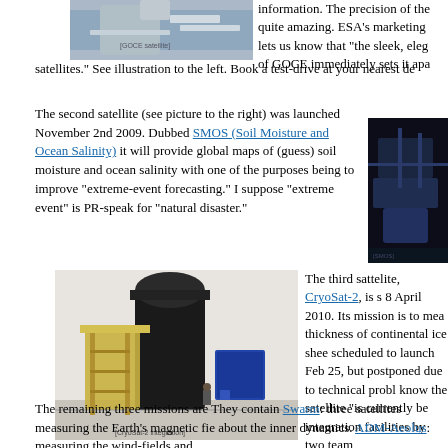[Figure (photo): Satellite image (GOCE), aerial/space view, partially visible at top of page]
information. The precision of these quite amazing. ESA's marketing lets us know that "the sleek, elega of GOCE immediately sets it apa satellites." See illustration to the left. Book a test-drive at your nearest de
The second satellite (see picture to the right) was launched November 2nd 2009. Dubbed SMOS (Soil Moisture and Ocean Salinity) it will provide global maps of (guess) soil moisture and ocean salinity with one of the purposes being to improve "extreme-event forecasting." I suppose "extreme event" is PR-speak for "natural disaster."
[Figure (photo): SMOS satellite in orbit, dark space background, partially cropped on right side]
[Figure (photo): CryoSat-2 rocket/launch vehicle inside integration facility, with scaffolding and equipment visible]
The third sattelite, CryoSat-2, is s 8 April 2010. Its mission is to mea thickness of continental ice shee scheduled to launch Feb 25, but postponed due to technical proble know the satellite "is currently be integration facilities by two team
The remaining three missions are They contain Swarm: three satellites measuring the Earth's magnetic fie about the inner dynamics. ADM-Aeolus: measuring the wind-fields and